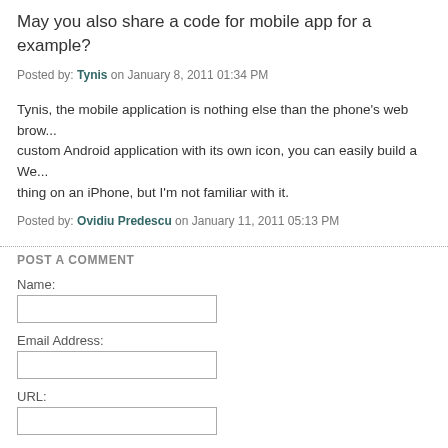May you also share a code for mobile app for a example?
Posted by: Tynis on January 8, 2011 01:34 PM
Tynis, the mobile application is nothing else than the phone's web browser... custom Android application with its own icon, you can easily build a We... thing on an iPhone, but I'm not familiar with it.
Posted by: Ovidiu Predescu on January 11, 2011 05:13 PM
POST A COMMENT
Name:
Email Address:
URL:
Comments: